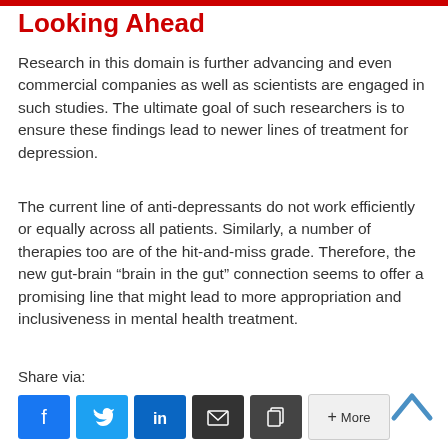Looking Ahead
Research in this domain is further advancing and even commercial companies as well as scientists are engaged in such studies. The ultimate goal of such researchers is to ensure these findings lead to newer lines of treatment for depression.
The current line of anti-depressants do not work efficiently or equally across all patients. Similarly, a number of therapies too are of the hit-and-miss grade. Therefore, the new gut-brain “brain in the gut” connection seems to offer a promising line that might lead to more appropriation and inclusiveness in mental health treatment.
Share via: